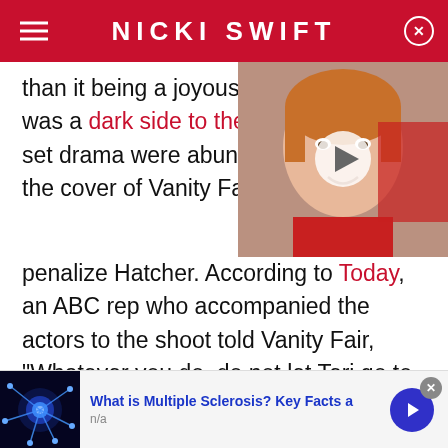NICKI SWIFT
than it being a joyous time in was a dark side to the "House set drama were abundant and the cover of Vanity Fair in 200 penalize Hatcher. According to Today, an ABC rep who accompanied the actors to the shoot told Vanity Fair, "Whatever you do, do not let Teri go to wardrobe first." Hatcher was also not to be placed in the middle of the photo, which she was, leading to Marcia Cross allegedly storming off and Hatcher crying on the phone.
[Figure (photo): Young boy with red hair smiling, video thumbnail with play button]
What is Multiple Sclerosis? Key Facts a
n/a